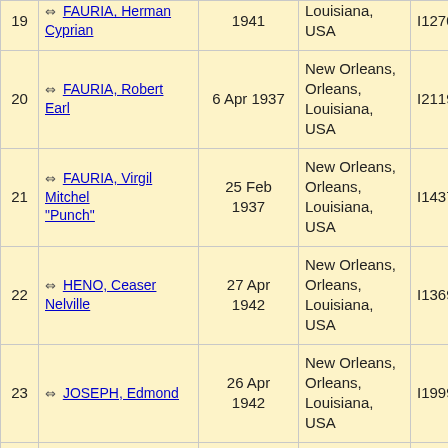| # | Name | Born | Birthplace | ID |
| --- | --- | --- | --- | --- |
| 19 | ⇔ FAURIA, Herman Cyprian | 1941 | Louisiana, USA | I1270 |
| 20 | ⇔ FAURIA, Robert Earl | 6 Apr 1937 | New Orleans, Orleans, Louisiana, USA | I2119 |
| 21 | ⇔ FAURIA, Virgil Mitchel "Punch" | 25 Feb 1937 | New Orleans, Orleans, Louisiana, USA | I1437 |
| 22 | ⇔ HENO, Ceaser Nelville | 27 Apr 1942 | New Orleans, Orleans, Louisiana, USA | I1369 |
| 23 | ⇔ JOSEPH, Edmond | 26 Apr 1942 | New Orleans, Orleans, Louisiana, USA | I1999 |
| 24 | ⇔ MARTINEZ, Patricia |  | New Orleans, Orleans, Louisiana, USA | I6890 |
| 25 | ⇔ MITCHELL, Edgar | 5 Jun 1917 | New Orleans, Orleans, Louisiana, USA | I1370 |
| 26 | ⇔ MITCHELL, Edgar | 25 Apr | New Orleans, Orleans, | I1370 |